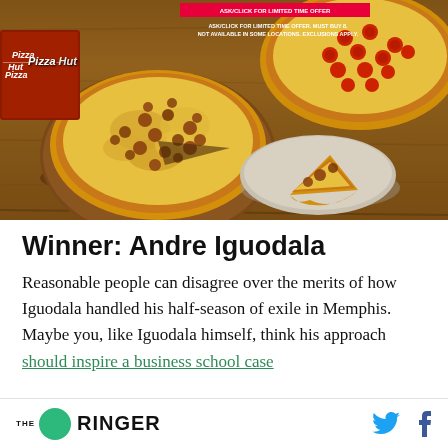[Figure (photo): Pizza Hut advertisement photo showing two large pizzas on a wooden table — one cheese pizza on a wooden serving board with a slice on a plate, one pepperoni pizza in background. Pizza Hut logo visible. Ad text overlay reads 'ASK/CLICK FOR LIMITED TIME OFFER. MUST BUY 8. NOT AVAILABLE IN SOME LOCATIONS. EXCLUSIONS APPLY.']
Winner: Andre Iguodala
Reasonable people can disagree over the merits of how Iguodala handled his half-season of exile in Memphis. Maybe you, like Iguodala himself, think his approach should inspire a business school case
THE RINGER